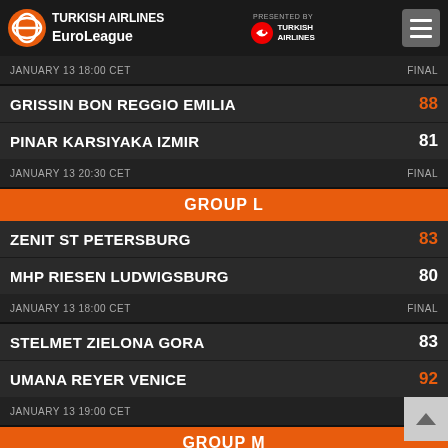[Figure (logo): Turkish Airlines EuroLeague header with logos and menu button]
JANUARY 13 18:00 CET  FINAL
GRISSIN BON REGGIO EMILIA  88
PINAR KARSIYAKA IZMIR  81
JANUARY 13 20:30 CET  FINAL
GROUP L
ZENIT ST PETERSBURG  83
MHP RIESEN LUDWIGSBURG  80
JANUARY 13 18:00 CET  FINAL
STELMET ZIELONA GORA  83
UMANA REYER VENICE  92
JANUARY 13 19:00 CET  FINAL
GROUP M
NIZHNY NOVGOROD  83
MACCABI FOX TEL AVIV  87